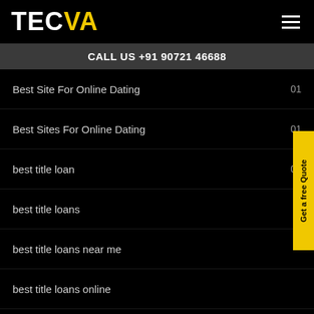TECVA
CALL US +91 90721 46688
Best Site For Online Dating  01
Best Sites For Online Dating  01
best title loan  03
best title loans
best title loans near me
best title loans online
best titleloan
Best Video Games Roms  01
Best Way To Say Hello On A Dating Site  01
better title loans  01